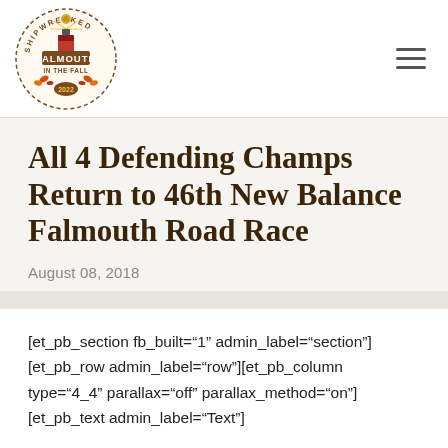[Figure (logo): Shipwrecked Falmouth In The Fall 2022 circular logo with lighthouse and fall leaves]
All 4 Defending Champs Return to 46th New Balance Falmouth Road Race
August 08, 2018
[et_pb_section fb_built="1" admin_label="section"][et_pb_row admin_label="row"][et_pb_column type="4_4" parallax="off" parallax_method="on"][et_pb_text admin_label="Text"]
FALMOUTH, MA –